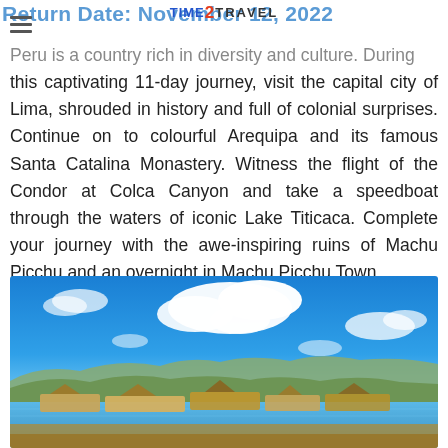Return Date: November 12, 2022 | TIME2TRAVEL logo
Peru is a country rich in diversity and culture. During this captivating 11-day journey, visit the capital city of Lima, shrouded in history and full of colonial surprises. Continue on to colourful Arequipa and its famous Santa Catalina Monastery. Witness the flight of the Condor at Colca Canyon and take a speedboat through the waters of iconic Lake Titicaca. Complete your journey with the awe-inspiring ruins of Machu Picchu and an overnight in Machu Picchu Town.
[Figure (photo): Photograph of Lake Titicaca with traditional reed island dwellings in the foreground, water in the mid-ground, mountains in the background, and a dramatic blue sky with white clouds above.]